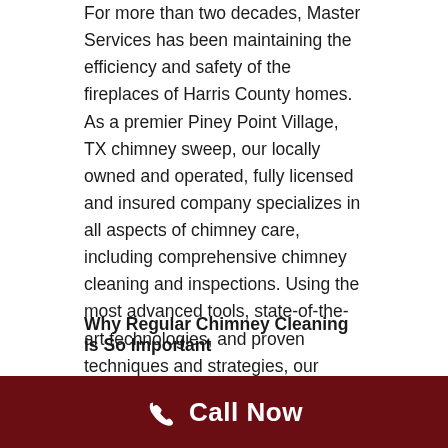For more than two decades, Master Services has been maintaining the efficiency and safety of the fireplaces of Harris County homes. As a premier Piney Point Village, TX chimney sweep, our locally owned and operated, fully licensed and insured company specializes in all aspects of chimney care, including comprehensive chimney cleaning and inspections. Using the most advanced tools, state-of-the-art technologies, and proven techniques and strategies, our certified Piney Point Village chimney sweeps will thoroughly inspect and clean every inch of every component of your chimney and fireplace. When the team at Master Services is on the job, you can have confidence knowing that you'll receive the most reliable and affordable chimney cleaning services.
Why Regular Chimney Cleaning is So Important
Call Now